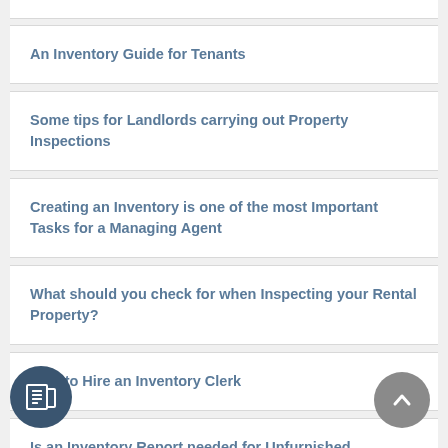An Inventory Guide for Tenants
Some tips for Landlords carrying out Property Inspections
Creating an Inventory is one of the most Important Tasks for a Managing Agent
What should you check for when Inspecting your Rental Property?
How to Hire an Inventory Clerk
Is an Inventory Report needed for Unfurnished Properties?